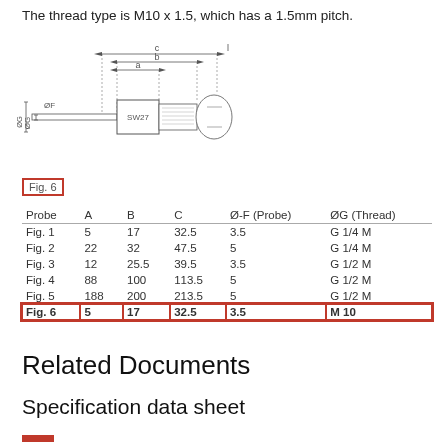The thread type is M10 x 1.5, which has a 1.5mm pitch.
[Figure (engineering-diagram): Technical drawing of a threaded probe/fitting showing dimensions labeled A, B, C, L, ØF, ØG, SW27]
Fig. 6
| Probe | A | B | C | Ø-F (Probe) | ØG (Thread) |
| --- | --- | --- | --- | --- | --- |
| Fig. 1 | 5 | 17 | 32.5 | 3.5 | G 1/4 M |
| Fig. 2 | 22 | 32 | 47.5 | 5 | G 1/4 M |
| Fig. 3 | 12 | 25.5 | 39.5 | 3.5 | G 1/2 M |
| Fig. 4 | 88 | 100 | 113.5 | 5 | G 1/2 M |
| Fig. 5 | 188 | 200 | 213.5 | 5 | G 1/2 M |
| Fig. 6 | 5 | 17 | 32.5 | 3.5 | M 10 |
Related Documents
Specification data sheet